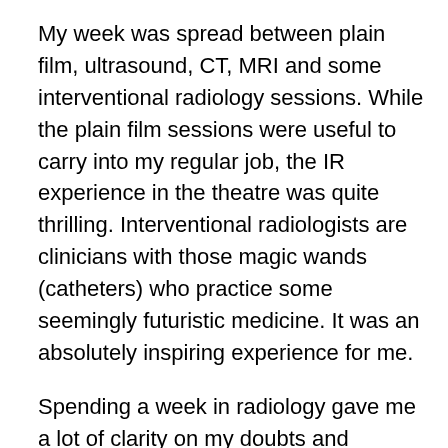My week was spread between plain film, ultrasound, CT, MRI and some interventional radiology sessions. While the plain film sessions were useful to carry into my regular job, the IR experience in the theatre was quite thrilling. Interventional radiologists are clinicians with those magic wands (catheters) who practice some seemingly futuristic medicine. It was an absolutely inspiring experience for me.
Spending a week in radiology gave me a lot of clarity on my doubts and misconceptions about the specialty.
Artificial intelligence (AI) won't replace radiologists: Every time I had expressed my interest in radiology, I was told that it will soon be replaced by AI and radiologists will be left with no jobs. My experience tells me that AI will only alter the job of a radiologist and not replace it. Radiologists do more than reading and interpreting images. They